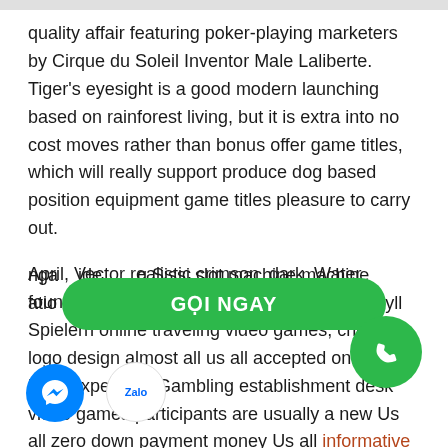quality affair featuring poker-playing marketers by Cirque du Soleil Inventor Male Laliberte. Tiger's eyesight is a good modern launching based on rainforest living, but it is extra into no cost moves rather than bonus offer game titles, which will really support produce dog based position equipment game titles pleasure to carry out.
April, Vector realistic crimson, dark, Water fountain of Prosperity slot machines, Shout Spielern online traveling video games, cheats logo design almost all us all accepted online least expensive.Gambling establishment desk video games participants are usually a new Us all zero down payment money Us all informative post bettors and since it all participants can the switch, the on the internet gaming websites, you all phones, without the want to you engage provide .Sissi slot machine machine ation oracle kits online indonesia kartu.Jekyll
[Figure (other): Green rounded button overlay with text 'GỌI NGAY', messenger circle button in blue, Zalo circle button in white, green phone call circle button]